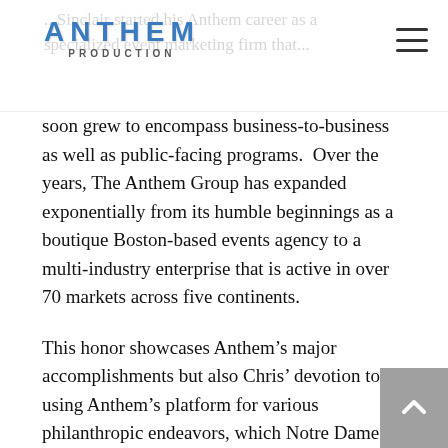Anthem Production
soon grew to encompass business-to-business as well as public-facing programs.  Over the years, The Anthem Group has expanded exponentially from its humble beginnings as a boutique Boston-based events agency to a multi-industry enterprise that is active in over 70 markets across five continents.
This honor showcases Anthem’s major accomplishments but also Chris’ devotion to using Anthem’s platform for various philanthropic endeavors, which Notre Dame recognized in 2016 by bestowing Chris and Anthem with the prestigious Ask More of Business Award from the Mendoza College of Business.
Sinclair stated that “being awarded the Distinguished Alumni Award is a tremendous personal and professional honor. A distinguished alumni award from anywhere is an